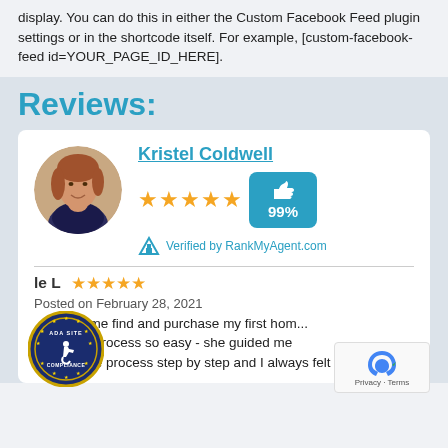display. You can do this in either the Custom Facebook Feed plugin settings or in the shortcode itself. For example, [custom-facebook-feed id=YOUR_PAGE_ID_HERE].
Reviews:
[Figure (photo): Circular profile photo of Kristel Coldwell, a woman with reddish-brown hair, smiling, wearing a dark top]
Kristel Coldwell
[Figure (infographic): 5 gold stars rating and a teal badge showing thumbs up icon and 99%]
Verified by RankMyAgent.com
le L
Posted on February 28, 2021
...helped me find and purchase my first hom... ...ade the process so easy - she guided me through the process step by step and I always felt
[Figure (logo): ADA Site Compliance circular badge with wheelchair accessibility icon]
[Figure (logo): reCAPTCHA badge with Privacy and Terms links]